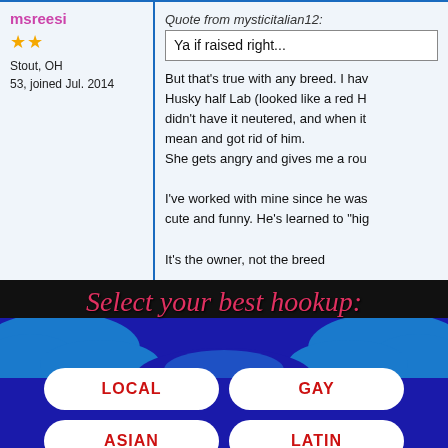msreesi
★★
Stout, OH
53, joined Jul. 2014
Quote from mysticitalian12:
Ya if raised right...

But that's true with any breed. I have a Husky half Lab (looked like a red Husky) didn't have it neutered, and when it got mean and got rid of him.
She gets angry and gives me a rou...

I've worked with mine since he was... cute and funny. He's learned to "hig...

It's the owner, not the breed
10/12/2014 9:15:20 AM   Pit Bulls... Yay or Nay?
here4foromsonly
★★★
Cincinnati, OH
56, joined Sep. 2012
Yea!!
[Figure (screenshot): Ad banner: dark background with cursive red text 'Select your best hookup:' and four white pill-shaped buttons labeled LOCAL, GAY, ASIAN, LATIN in red text, with blue wave design elements]